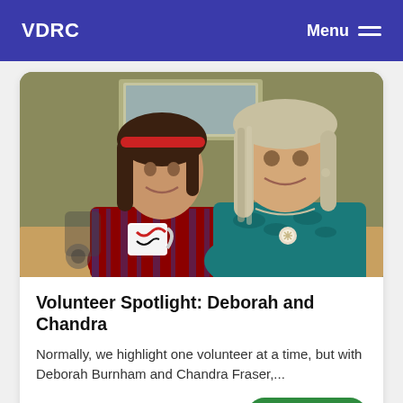VDRC   Menu
[Figure (photo): Two women smiling and posing together at a table. The woman on the left has dark hair with a red headband and wears a red plaid flannel shirt, and has her arm around the other woman. She has a coffee mug in front of her. The woman on the right has long gray-blonde hair and wears a teal/blue textured top with a brooch. A framed picture hangs on the wall behind them.]
Volunteer Spotlight: Deborah and Chandra
Normally, we highlight one volunteer at a time, but with Deborah Burnham and Chandra Fraser,...
Read More